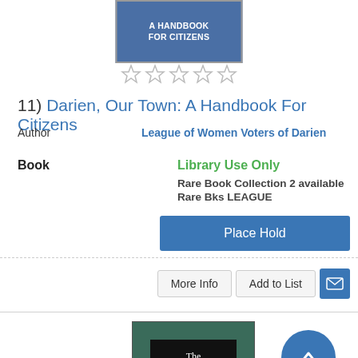[Figure (photo): Book cover of 'A Handbook for Citizens' shown partially at top of page, blue cover with white text]
[Figure (other): Five empty/outline star rating icons]
11) Darien, Our Town: A Handbook For Citizens
Author   League of Women Voters of Darien
Book   Library Use Only   Rare Book Collection  2 available   Rare Bks LEAGUE
Place Hold
More Info   Add to List
[Figure (photo): Book cover of 'The pageant of Darien', green cover with dark label showing title in white serif font]
[Figure (other): Scroll-to-top circular blue button with upward arrow]